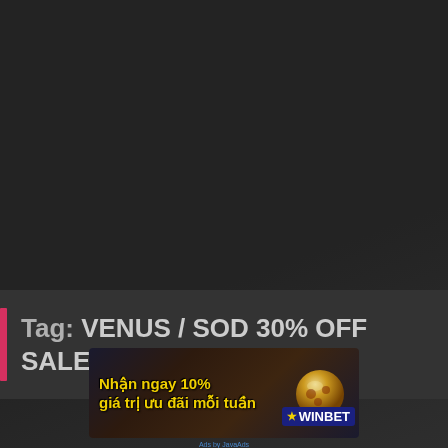[Figure (other): Dark gray background covering most of the page, slightly textured]
Tag: VENUS / SOD 30% OFF SALE
[Figure (infographic): WinBet advertisement banner with yellow text in Vietnamese reading 'Nhận ngay 10% giá trị ưu đãi mỗi tuần' with a gold/bronze ball graphic and WinBet logo on dark background]